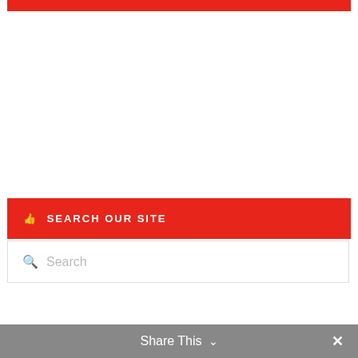[Figure (other): Red horizontal bar at top of page]
SEARCH OUR SITE
[Figure (other): Search input box with magnifying glass icon and placeholder text 'Search']
Share This ✕